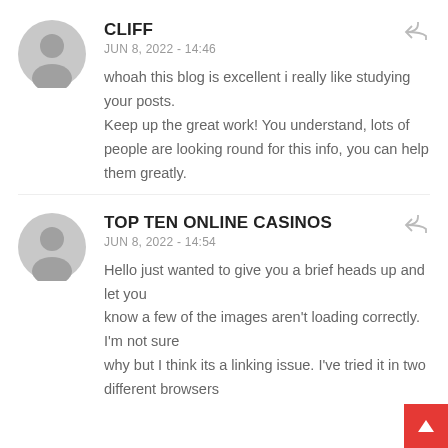CLIFF
JUN 8, 2022 - 14:46
whoah this blog is excellent i really like studying your posts.
Keep up the great work! You understand, lots of people are looking round for this info, you can help them greatly.
TOP TEN ONLINE CASINOS
JUN 8, 2022 - 14:54
Hello just wanted to give you a brief heads up and let you know a few of the images aren't loading correctly. I'm not sure why but I think its a linking issue. I've tried it in two different browsers